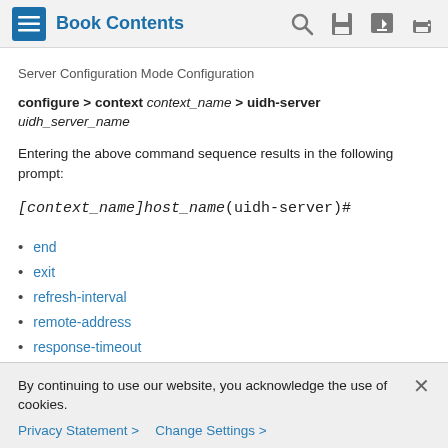Book Contents
Server Configuration Mode Configuration
configure > context context_name > uidh-server uidh_server_name
Entering the above command sequence results in the following prompt:
end
exit
refresh-interval
remote-address
response-timeout
By continuing to use our website, you acknowledge the use of cookies.
Privacy Statement > Change Settings >